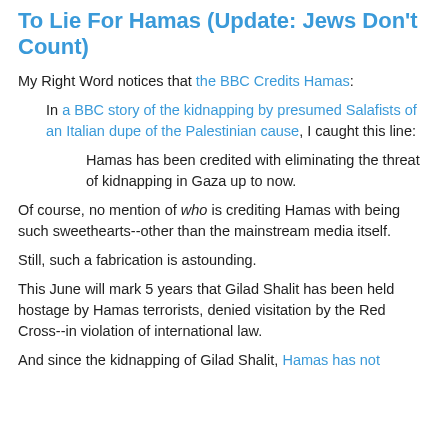To Lie For Hamas (Update: Jews Don't Count)
My Right Word notices that the BBC Credits Hamas:
In a BBC story of the kidnapping by presumed Salafists of an Italian dupe of the Palestinian cause, I caught this line:
Hamas has been credited with eliminating the threat of kidnapping in Gaza up to now.
Of course, no mention of who is crediting Hamas with being such sweethearts--other than the mainstream media itself.
Still, such a fabrication is astounding.
This June will mark 5 years that Gilad Shalit has been held hostage by Hamas terrorists, denied visitation by the Red Cross--in violation of international law.
And since the kidnapping of Gilad Shalit, Hamas has not